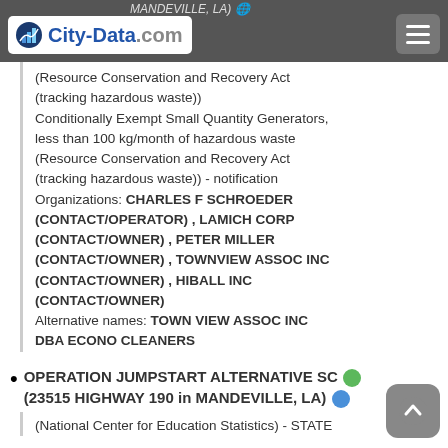City-Data.com — MANDEVILLE, LA
(Resource Conservation and Recovery Act (tracking hazardous waste)) Conditionally Exempt Small Quantity Generators, less than 100 kg/month of hazardous waste (Resource Conservation and Recovery Act (tracking hazardous waste)) - notification Organizations: CHARLES F SCHROEDER (CONTACT/OPERATOR) , LAMICH CORP (CONTACT/OWNER) , PETER MILLER (CONTACT/OWNER) , TOWNVIEW ASSOC INC (CONTACT/OWNER) , HIBALL INC (CONTACT/OWNER) Alternative names: TOWN VIEW ASSOC INC DBA ECONO CLEANERS
OPERATION JUMPSTART ALTERNATIVE SC... (23515 HIGHWAY 190 in MANDEVILLE, LA)
(National Center for Education Statistics) - STATE